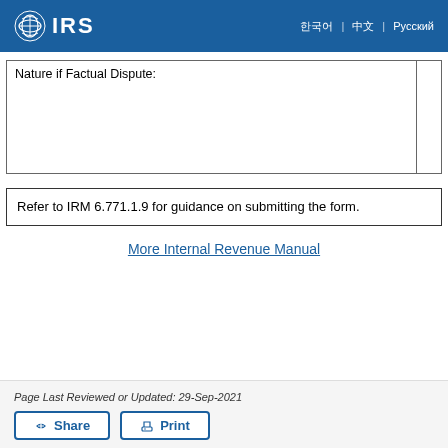IRS
| Nature if Factual Dispute: |  |
| --- | --- |
|  |  |
Refer to IRM 6.771.1.9 for guidance on submitting the form.
More Internal Revenue Manual
Page Last Reviewed or Updated: 29-Sep-2021